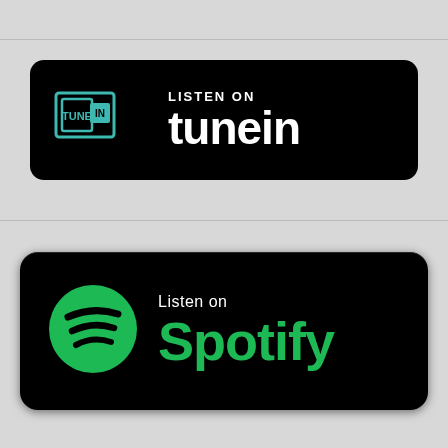[Figure (logo): TuneIn 'Listen on TuneIn' badge — black rounded rectangle with teal TuneIn logo on left and white text 'LISTEN ON tunein' on right]
[Figure (logo): Spotify 'Listen on Spotify' badge — black rounded rectangle with green Spotify logo on left and white/green text 'Listen on Spotify' on right]